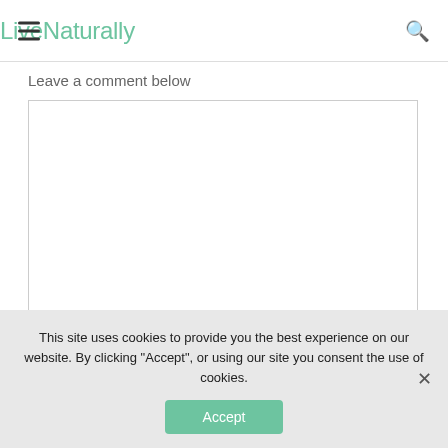LiveNaturally
Leave a comment below
This site uses cookies to provide you the best experience on our website. By clicking "Accept", or using our site you consent the use of cookies.